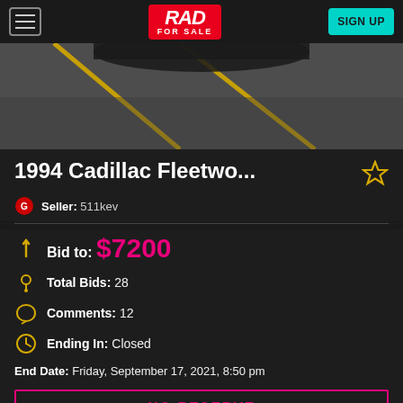RAD FOR SALE | SIGN UP
[Figure (photo): Overhead view of a car on pavement with yellow road markings]
1994 Cadillac Fleetwo...
Seller: 511kev
Bid to: $7200
Total Bids: 28
Comments: 12
Ending In: Closed
End Date: Friday, September 17, 2021, 8:50 pm
NO RESERVE